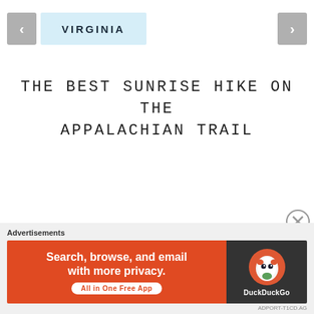< VIRGINIA >
THE BEST SUNRISE HIKE ON THE APPALACHIAN TRAIL
Advertisements
[Figure (other): DuckDuckGo advertisement banner: orange left panel with text 'Search, browse, and email with more privacy. All in One Free App', dark right panel with DuckDuckGo duck logo and brand name.]